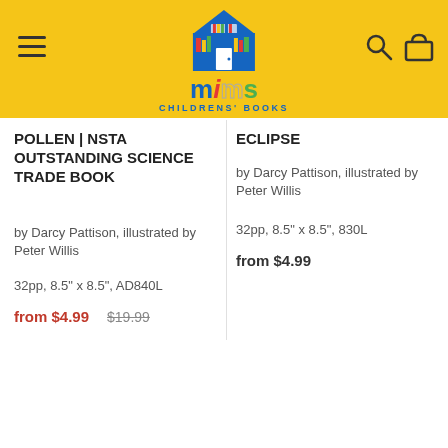Mims Children's Books - navigation header with logo, hamburger menu, search and cart icons
POLLEN | NSTA OUTSTANDING SCIENCE TRADE BOOK
by Darcy Pattison, illustrated by Peter Willis
32pp, 8.5" x 8.5", AD840L
from $4.99  $19.99
ECLIPSE
by Darcy Pattison, illustrated by Peter Willis
32pp, 8.5" x 8.5", 830L
from $4.99